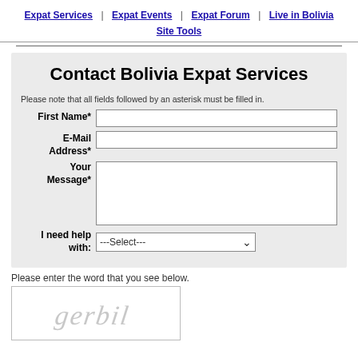Expat Services | Expat Events | Expat Forum | Live in Bolivia | Site Tools
Contact Bolivia Expat Services
Please note that all fields followed by an asterisk must be filled in.
First Name* [input field]
E-Mail Address* [input field]
Your Message* [textarea]
I need help with: ---Select--- [dropdown]
Please enter the word that you see below.
[Figure (other): CAPTCHA image showing the word 'gerbil' in stylized gray italic text]